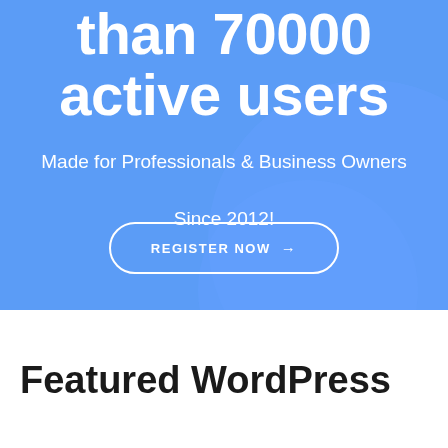than 70000 active users
Made for Professionals & Business Owners

Since 2012!
REGISTER NOW →
Featured WordPress